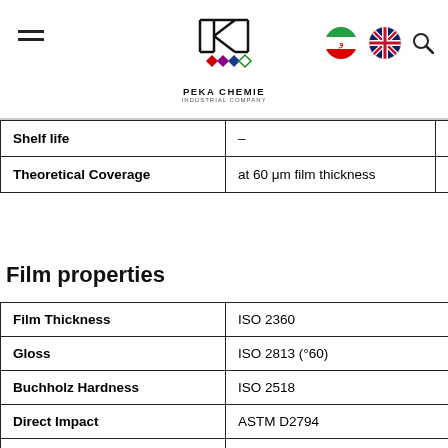PEKA CHEMIE INDUSTRIAL COMPANY
| Property | Condition | Value |
| --- | --- | --- |
| Shelf life | – | 12 |
| Theoretical Coverage | at 60 μm film thickness | 9.8 |
Film properties
| Property | Standard | Value |
| --- | --- | --- |
| Film Thickness | ISO 2360 |  |
| Gloss | ISO 2813 (°60) |  |
| Buchholz Hardness | ISO 2518 |  |
| Direct Impact | ASTM D2794 |  |
| Reverse Impact | ASTM D2794 |  |
| Adhesion | ISO 2409 (2 mm Crosshatch) |  |
| Cupping test | ISO 1520 |  |